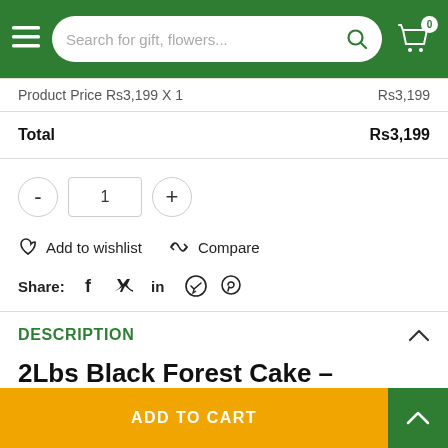Search for gift, flowers...
| Product Price | Price |
| --- | --- |
| Product Price Rs3,199 X 1 | Rs3,199 |
| Total | Rs3,199 |
- 1 +
Add to wishlist   Compare
Share: f  Twitter  in  Telegram  Pinterest
DESCRIPTION
2Lbs Black Forest Cake – Falettis Hotel